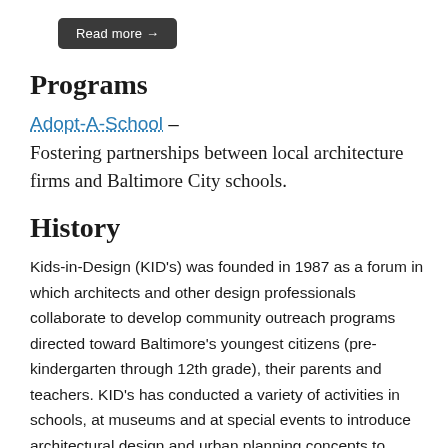[Figure (other): Dark rounded button labeled 'Read more →']
Programs
Adopt-A-School – Fostering partnerships between local architecture firms and Baltimore City schools.
History
Kids-in-Design (KID's) was founded in 1987 as a forum in which architects and other design professionals collaborate to develop community outreach programs directed toward Baltimore's youngest citizens (pre-kindergarten through 12th grade), their parents and teachers. KID's has conducted a variety of activities in schools, at museums and at special events to introduce architectural design and urban planning concepts to children in the Baltimore region. Today, Kids in Design has merged with AIA Baltimore's Future Architects Resources (FAR) to continue in its